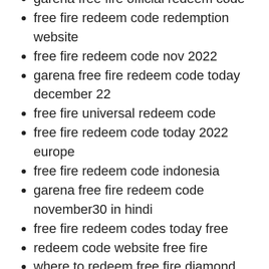garena free fire official redeem code
free fire redeem code redemption website
free fire redeem code nov 2022
garena free fire redeem code today december 22
free fire universal redeem code
free fire redeem code today 2022 europe
free fire redeem code indonesia
garena free fire redeem code november30 in hindi
free fire redeem codes today free
redeem code website free fire
where to redeem free fire diamond code
free fire official redeem code 19 october 2022 google